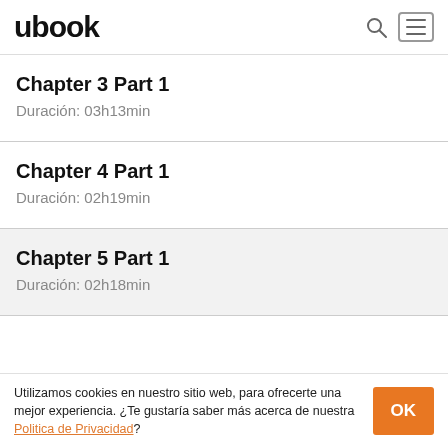ubook
Chapter 3 Part 1
Duración: 03h13min
Chapter 4 Part 1
Duración: 02h19min
Chapter 5 Part 1
Duración: 02h18min
Utilizamos cookies en nuestro sitio web, para ofrecerte una mejor experiencia. ¿Te gustaría saber más acerca de nuestra Politica de Privacidad?